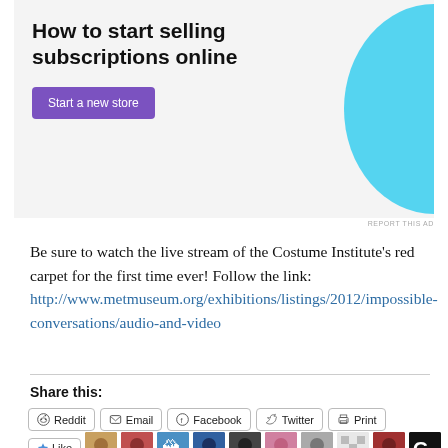[Figure (screenshot): Advertisement banner: 'How to start selling subscriptions online' with a purple 'Start a new store' button and a cyan decorative shape on the right]
Be sure to watch the live stream of the Costume Institute's red carpet for the first time ever!  Follow the link: http://www.metmuseum.org/exhibitions/listings/2012/impossible-conversations/audio-and-video
Share this:
[Figure (screenshot): Social share buttons: Reddit, Email, Facebook, Twitter, Print]
[Figure (screenshot): Like button with avatars of 10 bloggers who liked this]
10 bloggers like this.